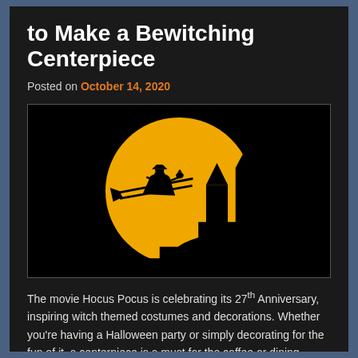to Make a Bewitching Centerpiece
Posted on October 14, 2020
[Figure (illustration): Halloween illustration showing a large yellow full moon against a black background, with a witch silhouette riding a broomstick across the moon and a dark castle silhouette in the lower right.]
The movie Hocus Pocus is celebrating its 27th Anniversary, inspiring witch themed costumes and decorations. Whether you're having a Halloween party or simply decorating for the fun of it, a centerpiece is a must for the coffee or dining tables. Below are step-by-step